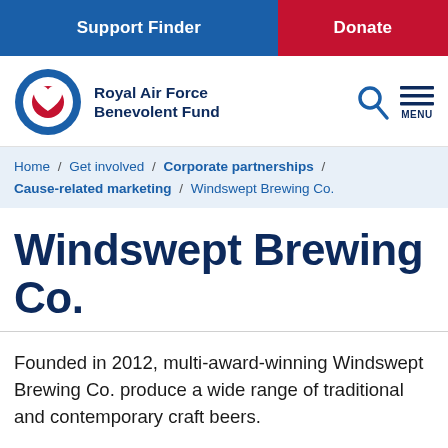Support Finder   Donate
[Figure (logo): Royal Air Force Benevolent Fund logo with roundel icon (blue circle with red heart centre) and organisation name text, plus search icon and menu icon]
Home / Get involved / Corporate partnerships / Cause-related marketing / Windswept Brewing Co.
Windswept Brewing Co.
Founded in 2012, multi-award-winning Windswept Brewing Co. produce a wide range of traditional and contemporary craft beers.